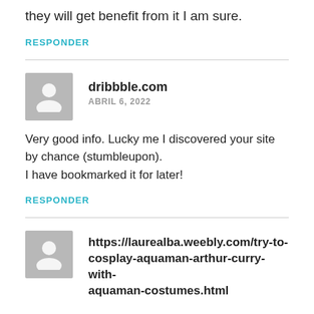they will get benefit from it I am sure.
RESPONDER
dribbble.com
ABRIL 6, 2022
Very good info. Lucky me I discovered your site by chance (stumbleupon).
I have bookmarked it for later!
RESPONDER
https://laurealba.weebly.com/try-to-cosplay-aquaman-arthur-curry-with-aquaman-costumes.html